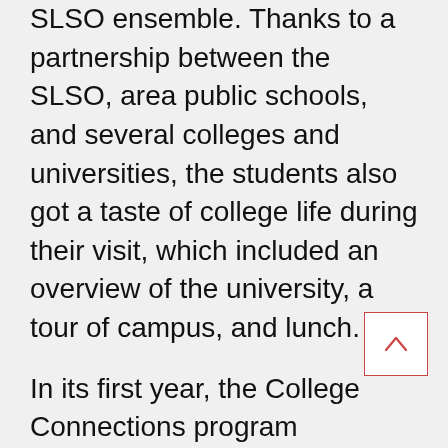SLSO ensemble. Thanks to a partnership between the SLSO, area public schools, and several colleges and universities, the students also got a taste of college life during their visit, which included an overview of the university, a tour of campus, and lunch.
In its first year, the College Connections program partnered with six St. Louis-area colleges and universities to expose local music students to higher education. SLSO College Connections is another facet of the existing Symphony In Your College program, which gives college students access to SLSO chamber performances free of